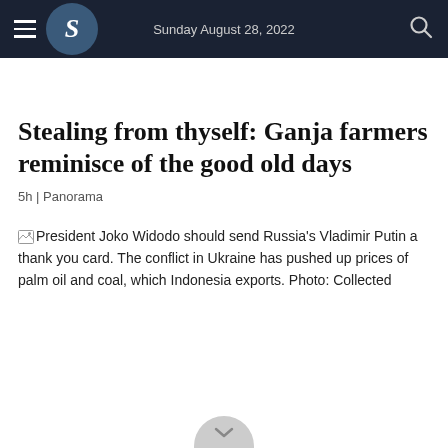Sunday August 28, 2022
Stealing from thyself: Ganja farmers reminisce of the good old days
5h | Panorama
President Joko Widodo should send Russia's Vladimir Putin a thank you card. The conflict in Ukraine has pushed up prices of palm oil and coal, which Indonesia exports. Photo: Collected